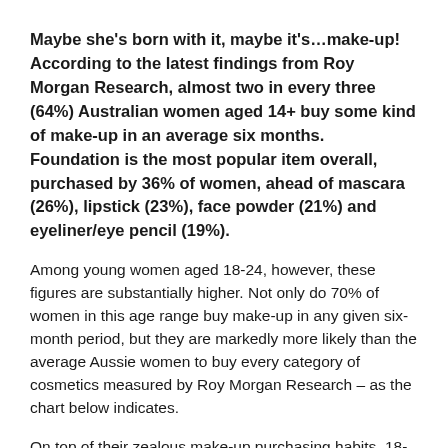Maybe she's born with it, maybe it's...make-up! According to the latest findings from Roy Morgan Research, almost two in every three (64%) Australian women aged 14+ buy some kind of make-up in an average six months. Foundation is the most popular item overall, purchased by 36% of women, ahead of mascara (26%), lipstick (23%), face powder (21%) and eyeliner/eye pencil (19%).
Among young women aged 18-24, however, these figures are substantially higher. Not only do 70% of women in this age range buy make-up in any given six-month period, but they are markedly more likely than the average Aussie women to buy every category of cosmetics measured by Roy Morgan Research – as the chart below indicates.
On top of their zealous make-up purchasing habits, 18-24 year-olds appear to have different cosmetic priorities than the average Australian woman. While foundation is once again the most popular item